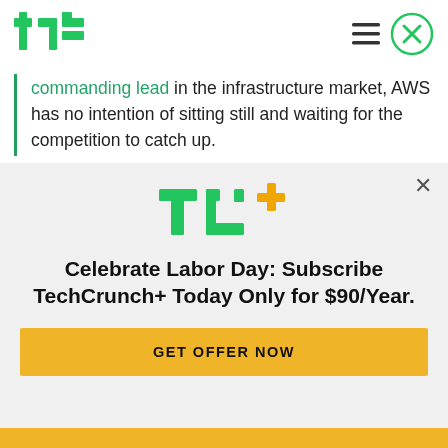TechCrunch
commanding lead in the infrastructure market, AWS has no intention of sitting still and waiting for the competition to catch up.
And it continued with a post-re:Invent announcement about entering the identity management market.
As we head into 2018, there is little reason to doubt
[Figure (logo): TC+ logo with green TC letters and orange plus sign]
Celebrate Labor Day: Subscribe TechCrunch+ Today Only for $90/Year.
GET OFFER NOW